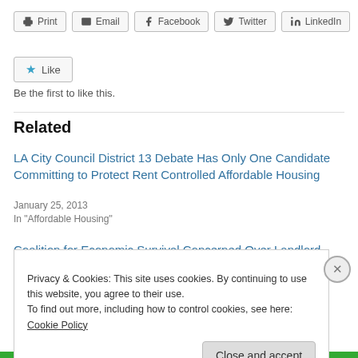[Figure (screenshot): Toolbar with Print, Email, Facebook, Twitter, LinkedIn buttons]
[Figure (screenshot): Like button with star icon]
Be the first to like this.
Related
LA City Council District 13 Debate Has Only One Candidate Committing to Protect Rent Controlled Affordable Housing
January 25, 2013
In "Affordable Housing"
Coalition for Economic Survival Concerned Over Landlord Group
Privacy & Cookies: This site uses cookies. By continuing to use this website, you agree to their use.
To find out more, including how to control cookies, see here: Cookie Policy